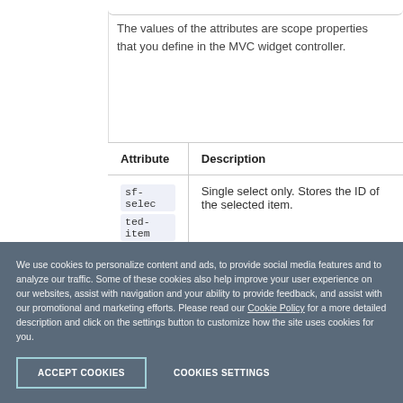The values of the attributes are scope properties that you define in the MVC widget controller.
| Attribute | Description |
| --- | --- |
| sf-selected-item-id | Single select only. Stores the ID of the selected item. |
We use cookies to personalize content and ads, to provide social media features and to analyze our traffic. Some of these cookies also help improve your user experience on our websites, assist with navigation and your ability to provide feedback, and assist with our promotional and marketing efforts. Please read our Cookie Policy for a more detailed description and click on the settings button to customize how the site uses cookies for you.